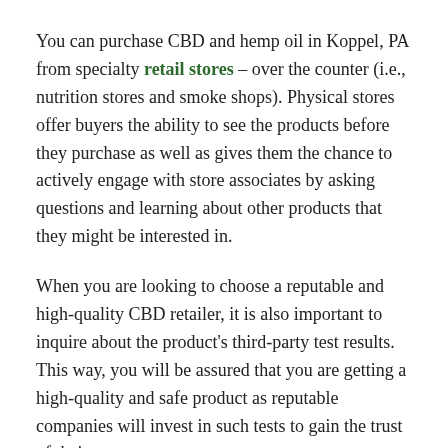You can purchase CBD and hemp oil in Koppel, PA from specialty retail stores – over the counter (i.e., nutrition stores and smoke shops). Physical stores offer buyers the ability to see the products before they purchase as well as gives them the chance to actively engage with store associates by asking questions and learning about other products that they might be interested in.
When you are looking to choose a reputable and high-quality CBD retailer, it is also important to inquire about the product's third-party test results. This way, you will be assured that you are getting a high-quality and safe product as reputable companies will invest in such tests to gain the trust of their customers.
Manufacturers are free to sell what they consider as the